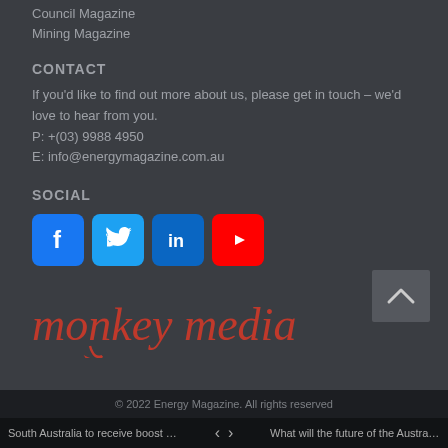Council Magazine
Mining Magazine
CONTACT
If you'd like to find out more about us, please get in touch – we'd love to hear from you.
P: +(03) 9988 4950
E: info@energymagazine.com.au
SOCIAL
[Figure (logo): Social media icons: Facebook (blue), Twitter (light blue), LinkedIn (dark blue), YouTube (red)]
[Figure (logo): monkey media logo in red italic serif text with decorative curl]
© 2022 Energy Magazine. All rights reserved
South Australia to receive boost to syst... < > What will the future of the Australian hyd...